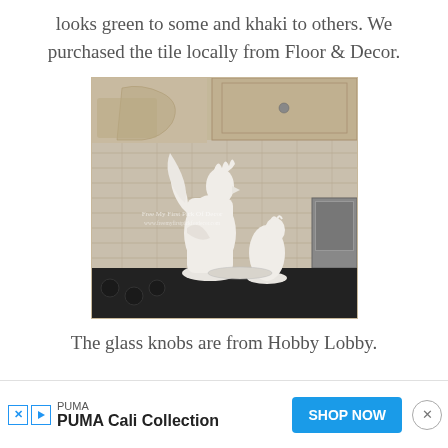looks green to some and khaki to others. We purchased the tile locally from Floor & Decor.
[Figure (photo): Kitchen counter scene with two white ceramic rooster/chicken figurines in front of a beige subway tile backsplash. Cream-colored distressed cabinets with glass knobs visible above. Stainless steel appliance on the right. Dark countertop with black stove burner knobs visible at the bottom. Small watermark text in the middle of the image.]
The glass knobs are from Hobby Lobby.
PUMA  PUMA Cali Collection  SHOP NOW